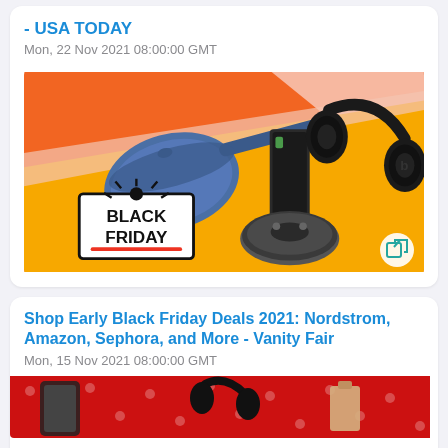- USA TODAY
Mon, 22 Nov 2021 08:00:00 GMT
[Figure (photo): Black Friday promotional banner with orange and yellow diagonal background, featuring a blue frying pan, iRobot Roomba vacuum, Beats headphones, and a Black Friday logo with starburst.]
Shop Early Black Friday Deals 2021: Nordstrom, Amazon, Sephora, and More - Vanity Fair
Mon, 15 Nov 2021 08:00:00 GMT
[Figure (photo): Partial view of a red-themed promotional banner showing product images on a red polka dot background.]